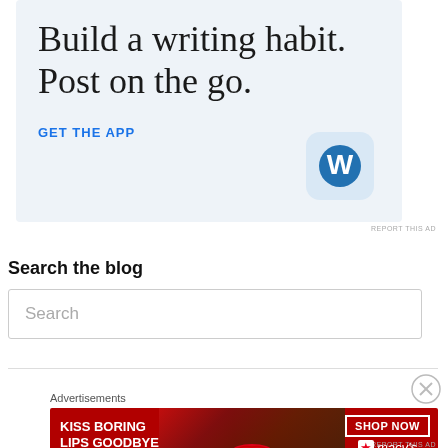[Figure (illustration): WordPress app advertisement with light blue background. Large serif text reads 'Build a writing habit. Post on the go.' Below is a blue link 'GET THE APP' and the WordPress app icon (W logo in blue circle on light blue rounded square background).]
REPORT THIS AD
Search the blog
Search
[Figure (illustration): Macy's advertisement with red background showing a woman's face with red lips. Text reads 'KISS BORING LIPS GOODBYE' with 'SHOP NOW' button and Macy's star logo.]
Advertisements
REPORT THIS AD